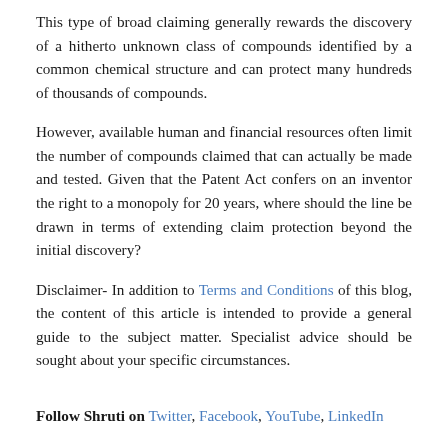This type of broad claiming generally rewards the discovery of a hitherto unknown class of compounds identified by a common chemical structure and can protect many hundreds of thousands of compounds.
However, available human and financial resources often limit the number of compounds claimed that can actually be made and tested. Given that the Patent Act confers on an inventor the right to a monopoly for 20 years, where should the line be drawn in terms of extending claim protection beyond the initial discovery?
Disclaimer- In addition to Terms and Conditions of this blog, the content of this article is intended to provide a general guide to the subject matter. Specialist advice should be sought about your specific circumstances.
Follow Shruti on Twitter, Facebook, YouTube, LinkedIn